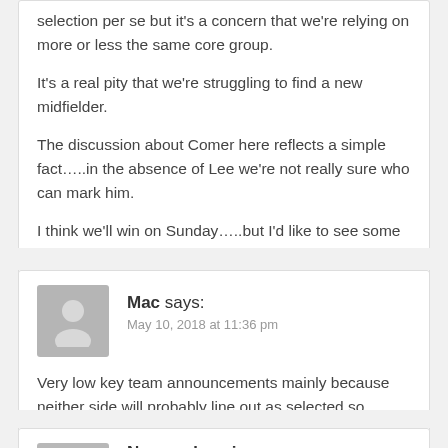selection per se but it's a concern that we're relying on more or less the same core group.
It's a real pity that we're struggling to find a new midfielder.
The discussion about Comer here reflects a simple fact…..in the absence of Lee we're not really sure who can mark him.
I think we'll win on Sunday…..but I'd like to see some fresh midfield and attacking players coming through.
Mac says:
May 10, 2018 at 11:36 pm
Very low key team announcements mainly because neither side will probably line out as selected so what's the point you wonder?
Now and again says: